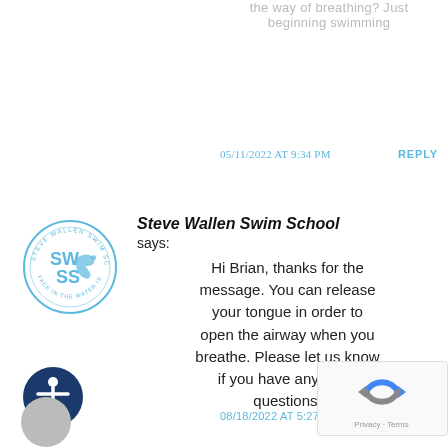the way of breathing? Just beginning swimming
05/11/2022 AT 9:34 PM   REPLY
[Figure (logo): Steve Wallen Swim School circular logo with SWSS letters and dolphin graphic]
Steve Wallen Swim School says: Hi Brian, thanks for the message. You can release your tongue in order to open the airway when you breathe. Please let us know if you have any other questions.
08/18/2022 AT 5:27 PM
[Figure (logo): Accessibility icon - circular dark blue button with white human figure]
[Figure (logo): Google reCAPTCHA badge with Privacy and Terms text]